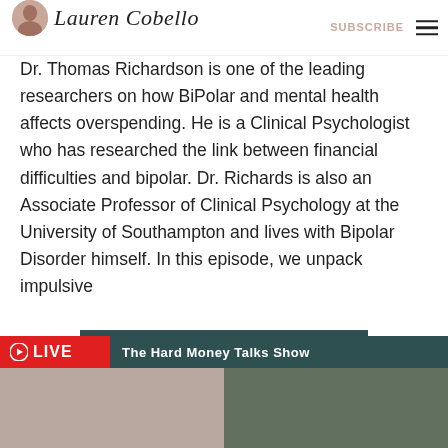Lauren Cobello | SUBSCRIBE
Dr. Thomas Richardson is one of the leading researchers on how BiPolar and mental health affects overspending. He is a Clinical Psychologist who has researched the link between financial difficulties and bipolar. Dr. Richards is also an Associate Professor of Clinical Psychology at the University of Southampton and lives with Bipolar Disorder himself. In this episode, we unpack impulsive
READ MORE
[Figure (screenshot): LIVE banner with The Hard Money Talks Show title and two people visible in the bottom strip]